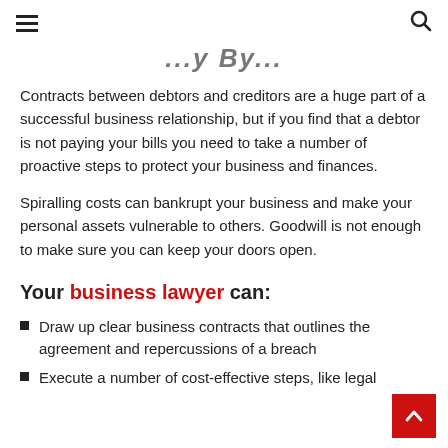≡  [search icon]
...y By...
Contracts between debtors and creditors are a huge part of a successful business relationship, but if you find that a debtor is not paying your bills you need to take a number of proactive steps to protect your business and finances.
Spiralling costs can bankrupt your business and make your personal assets vulnerable to others. Goodwill is not enough to make sure you can keep your doors open.
Your business lawyer can:
Draw up clear business contracts that outlines the agreement and repercussions of a breach
Execute a number of cost-effective steps, like legal